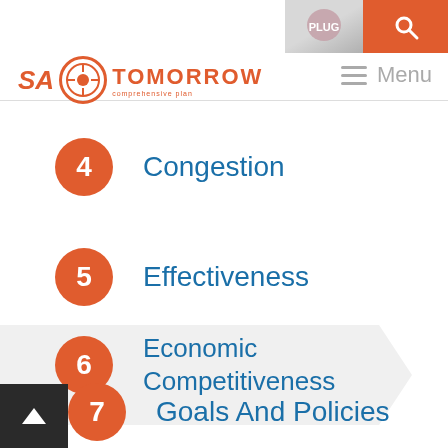SA Tomorrow - comprehensive plan navigation header with logo and menu
4   Congestion
5   Effectiveness
6   Economic Competitiveness
7   Goals And Policies